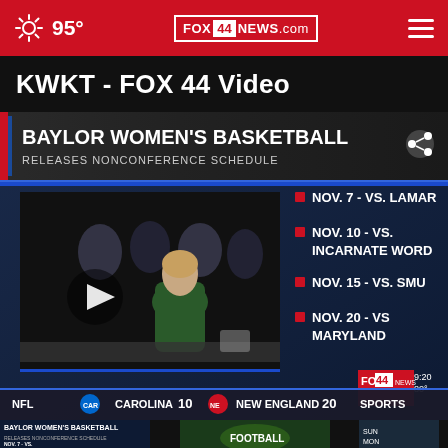95° FOX 44 NEWS.com
KWKT - FOX 44 Video
[Figure (screenshot): FOX 44 news broadcast screenshot showing Baylor Women's Basketball Releases Nonconference Schedule segment. Left side shows video of people in green jackets at a table with a play button overlay. Right side lists: NOV. 7 - VS. LAMAR, NOV. 10 - VS. INCARNATE WORD, NOV. 15 - VS. SMU, NOV. 20 - VS MARYLAND. Bottom ticker shows NFL Carolina 10 New England 20 SPORTS. FOX 44 logo with 9:20 80° in lower right.]
[Figure (screenshot): Three video thumbnails at bottom: First shows Baylor Women's Basketball Releases Nonconference Schedule with Nov. 7 bullet. Second shows a football graphic. Third partially visible.]